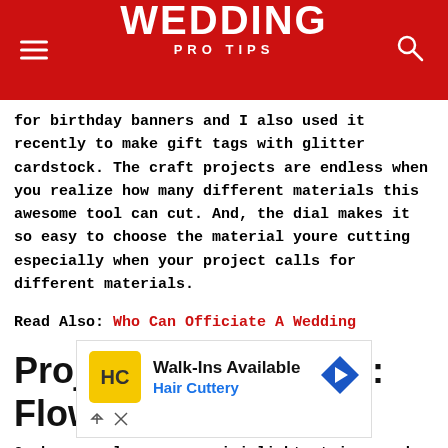WEDDING PRO TIPS
for birthday banners and I also used it recently to make gift tags with glitter cardstock. The craft projects are endless when you realize how many different materials this awesome tool can cut. And, the dial makes it so easy to choose the material youre cutting especially when your project calls for different materials.
Read Also:  Who Can Officiate A Wedding
Project Number Four: Flower Garland
Grab your glue gun, a mini light string, and your cardstock.  Here is
[Figure (screenshot): Advertisement banner for Hair Cuttery: Walk-Ins Available, with HC logo and navigation arrow icon]